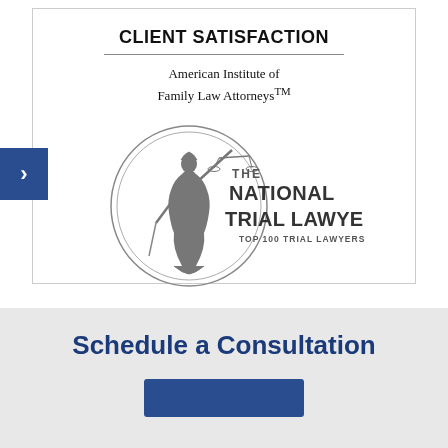CLIENT SATISFACTION
American Institute of Family Law Attorneys™
[Figure (logo): The National Trial Lawyers - Top 100 Trial Lawyers logo with Lady Justice figure holding scales and sword inside a circular ring]
Schedule a Consultation
[Figure (other): Blue button partially visible at bottom of page]